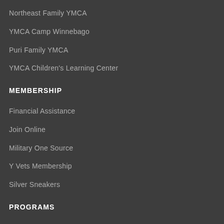Northeast Family YMCA
YMCA Camp Winnebago
Puri Family YMCA
YMCA Children's Learning Center
MEMBERSHIP
Financial Assistance
Join Online
Military One Source
Y Vets Membership
Silver Sneakers
PROGRAMS
Adult Sports
Group Fitness
Youth Sports